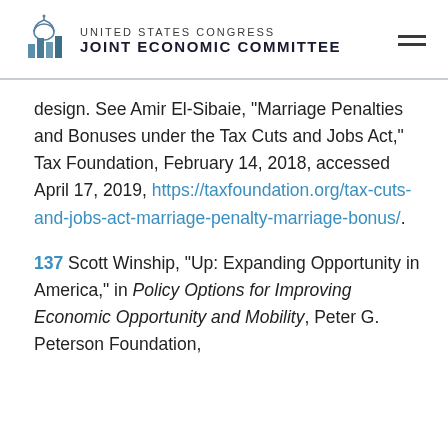UNITED STATES CONGRESS JOINT ECONOMIC COMMITTEE
design. See Amir El-Sibaie, “Marriage Penalties and Bonuses under the Tax Cuts and Jobs Act,” Tax Foundation, February 14, 2018, accessed April 17, 2019, https://taxfoundation.org/tax-cuts-and-jobs-act-marriage-penalty-marriage-bonus/.
137 Scott Winship, “Up: Expanding Opportunity in America,” in Policy Options for Improving Economic Opportunity and Mobility, Peter G. Peterson Foundation,